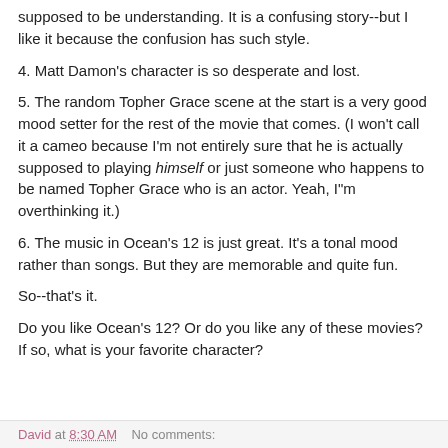supposed to be understanding. It is a confusing story--but I like it because the confusion has such style.
4. Matt Damon's character is so desperate and lost.
5. The random Topher Grace scene at the start is a very good mood setter for the rest of the movie that comes. (I won't call it a cameo because I'm not entirely sure that he is actually supposed to playing himself or just someone who happens to be named Topher Grace who is an actor. Yeah, I"m overthinking it.)
6. The music in Ocean's 12 is just great. It's a tonal mood rather than songs. But they are memorable and quite fun.
So--that's it.
Do you like Ocean's 12? Or do you like any of these movies? If so, what is your favorite character?
David at 8:30 AM    No comments: